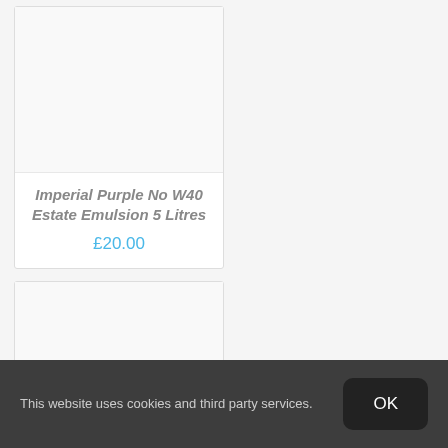[Figure (photo): Product image placeholder for Imperial Purple No W40 Estate Emulsion 5 Litres]
Imperial Purple No W40 Estate Emulsion 5 Litres
£20.00
[Figure (photo): Product image placeholder for Clunch Estate Eggshell 5 Litres]
Clunch Estate Eggshell 5 Litres
£20.00
This website uses cookies and third party services.